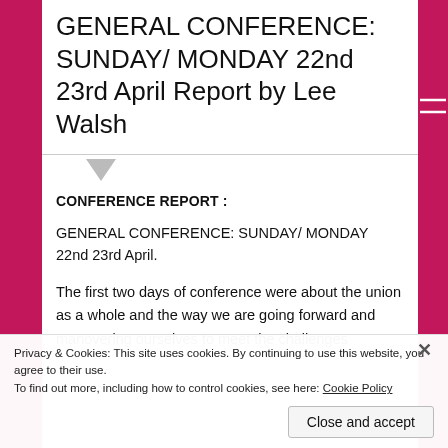GENERAL CONFERENCE: SUNDAY/ MONDAY 22nd 23rd April Report by Lee Walsh
CONFERENCE REPORT :
GENERAL CONFERENCE: SUNDAY/ MONDAY 22nd 23rd April.
The first two days of conference were about the union as a whole and the way we are going forward and manovering ourselves to meet the challenges ahead in this ever changing society. The f will
Privacy & Cookies: This site uses cookies. By continuing to use this website, you agree to their use.
To find out more, including how to control cookies, see here: Cookie Policy
Close and accept